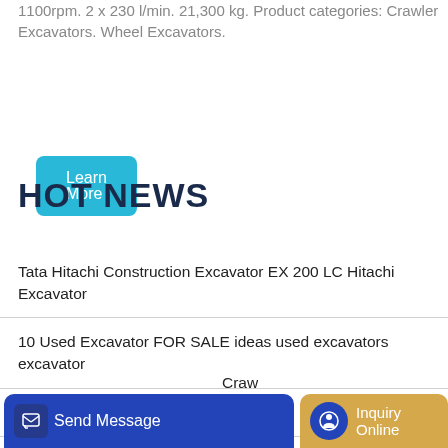1100rpm. 2 x 230 l/min. 21,300 kg. Product categories: Crawler Excavators. Wheel Excavators.
[Figure (other): Blue 'Learn More' button]
HOT NEWS
Tata Hitachi Construction Excavator EX 200 LC Hitachi Excavator
10 Used Excavator FOR SALE ideas used excavators excavator
gjw111 excavator service provider
The Foton loader is made in China
Craw...
TrucksNI
[Figure (other): Bottom bar with 'Send Message' blue button and 'Inquiry Online' tan/gold button]